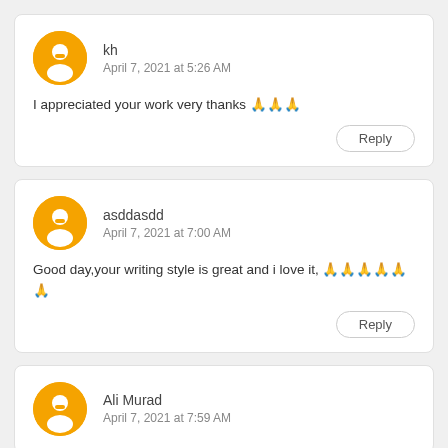kh
April 7, 2021 at 5:26 AM
I appreciated your work very thanks 🙏🙏🙏
Reply
asddasdd
April 7, 2021 at 7:00 AM
Good day,your writing style is great and i love it, 🙏🙏🙏🙏🙏🙏
Reply
Ali Murad
April 7, 2021 at 7:59 AM